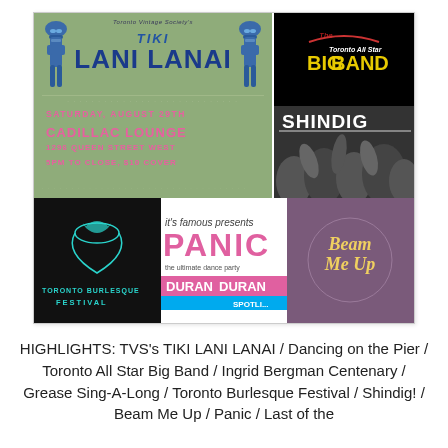[Figure (illustration): Collage of event promotional images: Toronto Vintage Society's Tiki Lani Lanai poster (green background with tiki statues, date Saturday August 29th, Cadillac Lounge, 1296 Queen Street West, 5pm to close, $10 cover), Toronto All Star Big Band logo on black background, Shindig black and white crowd photo, Toronto Burlesque Festival logo on black, Panic/Duran Duran poster, and Beam Me Up text on purple background.]
HIGHLIGHTS: TVS's TIKI LANI LANAI / Dancing on the Pier / Toronto All Star Big Band / Ingrid Bergman Centenary / Grease Sing-A-Long / Toronto Burlesque Festival / Shindig! / Beam Me Up / Panic / Last of the